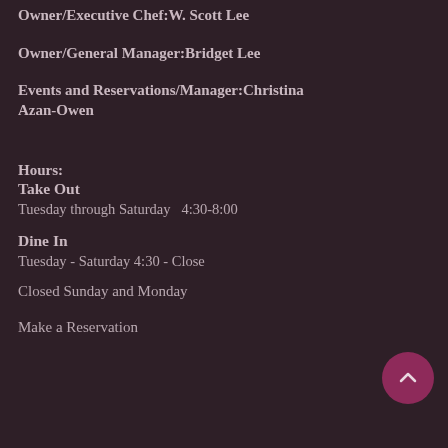Owner/Executive Chef:W. Scott Lee
Owner/General Manager:Bridget Lee
Events and Reservations/Manager:Christina Azan-Owen
Hours:
Take Out
Tuesday through Saturday   4:30-8:00
Dine In
Tuesday - Saturday 4:30 - Close
Closed Sunday and Monday
Make a Reservation